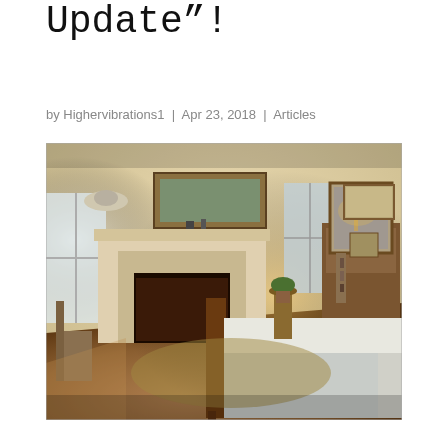Update"!
by Highervibrations1 | Apr 23, 2018 | Articles
[Figure (photo): Interior bedroom photograph showing a warm, traditionally decorated room with a fireplace, wooden furniture, a large bed with white linens, framed artwork on walls, and hardwood floors.]